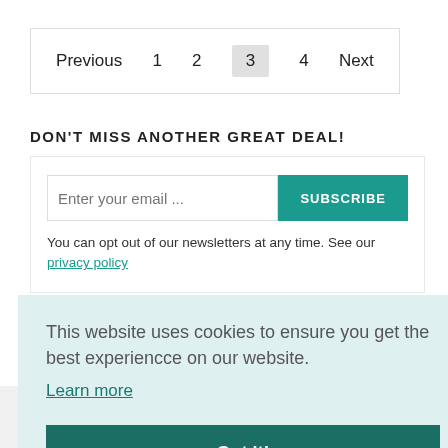Previous   1   2   3   4   Next
DON'T MISS ANOTHER GREAT DEAL!
Enter your email ...   SUBSCRIBE
You can opt out of our newsletters at any time. See our privacy policy
This website uses cookies to ensure you get the best experiencce on our website. Learn more  Got it!